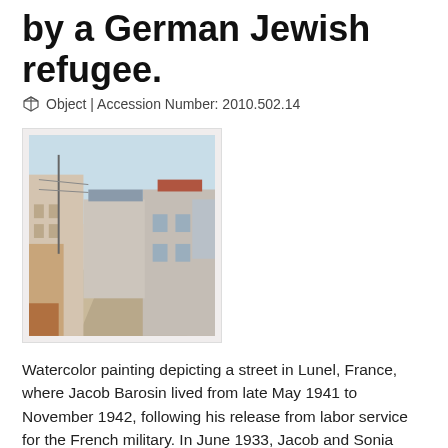by a German Jewish refugee.
Object | Accession Number: 2010.502.14
[Figure (photo): Watercolor painting depicting a street scene in Lunel, France, showing buildings along a road with a pale blue sky.]
Watercolor painting depicting a street in Lunel, France, where Jacob Barosin lived from late May 1941 to November 1942, following his release from labor service for the French military. In June 1933, Jacob and Sonia